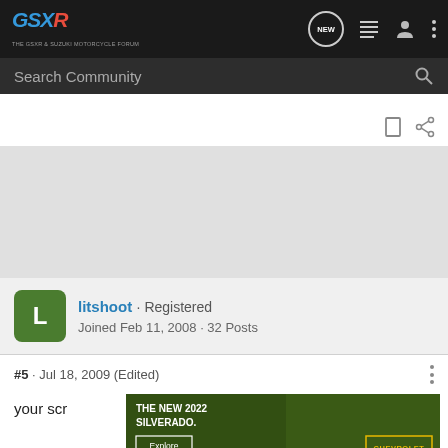GSXR - THE GSXR FORUM - Search Community - NEW - nav icons
Search Community
[Figure (screenshot): Gray content/ad area placeholder]
litshoot · Registered
Joined Feb 11, 2008 · 32 Posts
#5 · Jul 18, 2009 (Edited)
your scr
[Figure (photo): Chevrolet Silverado 2022 advertisement banner with text: THE NEW 2022 SILVERADO. Explore button. Chevrolet logo.]